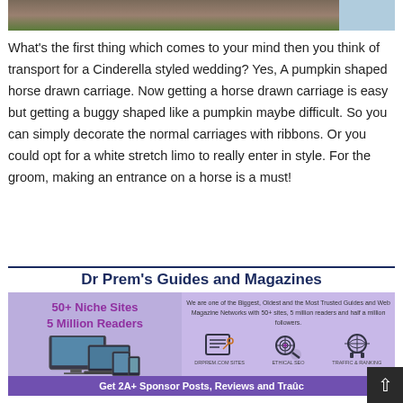[Figure (photo): Top portion of an image showing a wooden surface or carriage with a blue sky in the upper right corner.]
What's the first thing which comes to your mind then you think of transport for a Cinderella styled wedding? Yes, A pumpkin shaped horse drawn carriage. Now getting a horse drawn carriage is easy but getting a buggy shaped like a pumpkin maybe difficult. So you can simply decorate the normal carriages with ribbons. Or you could opt for a white stretch limo to really enter in style. For the groom, making an entrance on a horse is a must!
[Figure (infographic): Dr Prem's Guides and Magazines promotional banner. Shows '50+ Niche Sites 5 Million Readers' on the left with device images and network.drprem.com URL. On the right: 'We are one of the Biggest, Oldest and the Most Trusted Guides and Web Magazine Networks with 50+ sites, 5 million readers and half a million followers.' with icons for SEO/content/traffic. Bottom bar reads 'Get 2A+ Sponsor Posts, Reviews and Traffic']